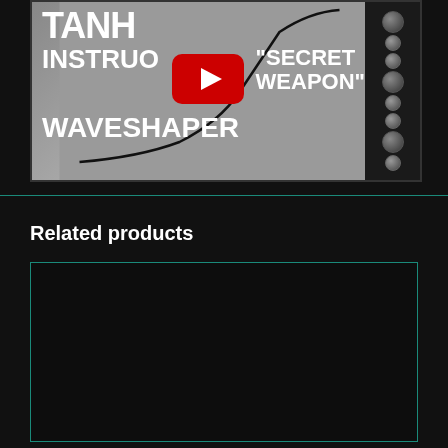[Figure (screenshot): YouTube video thumbnail showing a waveshaper module. Text reads: TANH, INSTRUO, SECRET WEAPON WAVESHAPER. YouTube play button in center. Eurorack module panel on right side.]
Related products
[Figure (other): Dark product card placeholder with teal/green border, mostly black/dark content area]